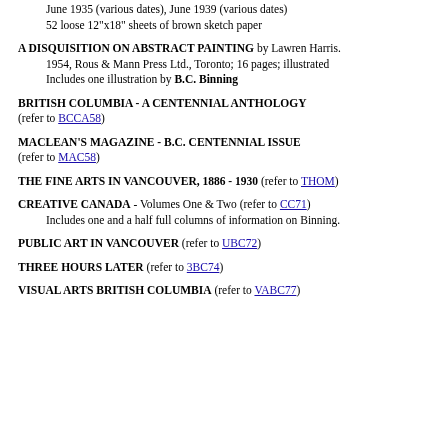June 1935 (various dates), June 1939 (various dates)
52 loose 12"x18" sheets of brown sketch paper
A DISQUISITION ON ABSTRACT PAINTING by Lawren Harris.
1954, Rous & Mann Press Ltd., Toronto; 16 pages; illustrated
Includes one illustration by B.C. Binning
BRITISH COLUMBIA - A CENTENNIAL ANTHOLOGY (refer to BCCA58)
MACLEAN'S MAGAZINE - B.C. CENTENNIAL ISSUE (refer to MAC58)
THE FINE ARTS IN VANCOUVER, 1886 - 1930 (refer to THOM)
CREATIVE CANADA - Volumes One & Two (refer to CC71)
Includes one and a half full columns of information on Binning.
PUBLIC ART IN VANCOUVER (refer to UBC72)
THREE HOURS LATER (refer to 3BC74)
VISUAL ARTS BRITISH COLUMBIA (refer to VABC77)